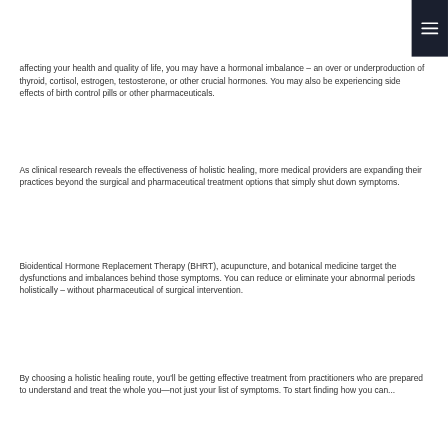affecting your health and quality of life, you may have a hormonal imbalance – an over or underproduction of thyroid, cortisol, estrogen, testosterone, or other crucial hormones. You may also be experiencing side effects of birth control pills or other pharmaceuticals.
As clinical research reveals the effectiveness of holistic healing, more medical providers are expanding their practices beyond the surgical and pharmaceutical treatment options that simply shut down symptoms.
Bioidentical Hormone Replacement Therapy (BHRT), acupuncture, and botanical medicine target the dysfunctions and imbalances behind those symptoms. You can reduce or eliminate your abnormal periods holistically – without pharmaceutical of surgical intervention.
By choosing a holistic healing route, you'll be getting effective treatment from practitioners who are prepared to understand and treat the whole you—not just your list of symptoms. To start finding how you can...